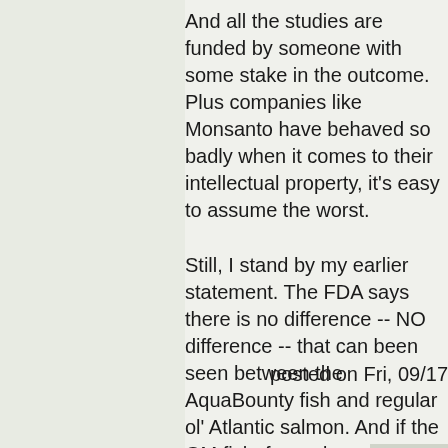And all the studies are funded by someone with some stake in the outcome. Plus companies like Monsanto have behaved so badly when it comes to their intellectual property, it's easy to assume the worst.
Still, I stand by my earlier statement. The FDA says there is no difference -- NO difference -- that can been seen between the AquaBounty fish and regular ol' Atlantic salmon. And if the GM fish, farmed according to the company's application to the FDA, will be better for the environment and potentially for more consumers. I'll eat 'em.
posted on Fri, 09/17